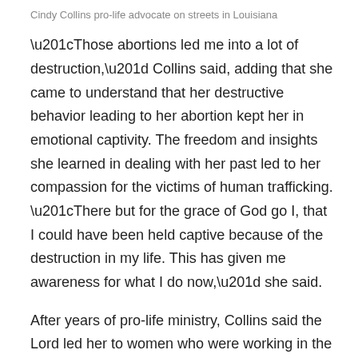Cindy Collins pro-life advocate on streets in Louisiana
“Those abortions led me into a lot of destruction,” Collins said, adding that she came to understand that her destructive behavior leading to her abortion kept her in emotional captivity. The freedom and insights she learned in dealing with her past led to her compassion for the victims of human trafficking. “There but for the grace of God go I, that I could have been held captive because of the destruction in my life. This has given me awareness for what I do now,” she said.
After years of pro-life ministry, Collins said the Lord led her to women who were working in the commercial sex industry:
I was invited to go on a team to minister to strip clubs down town understanding that many years ago, I could